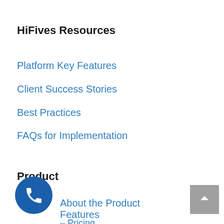HiFives Resources
Platform Key Features
Client Success Stories
Best Practices
FAQs for Implementation
Product
About the Product
Features
– Pricing